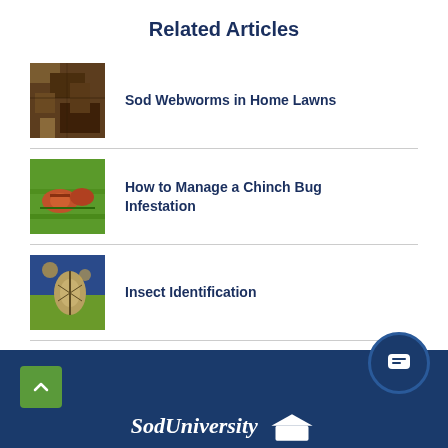Related Articles
Sod Webworms in Home Lawns
[Figure (photo): Thumbnail image of sod webworms in soil/grass – brown earthy texture]
How to Manage a Chinch Bug Infestation
[Figure (photo): Thumbnail image of chinch bugs on green grass]
Insect Identification
[Figure (photo): Thumbnail image of an insect for identification – split blue and green background]
SodUniversity